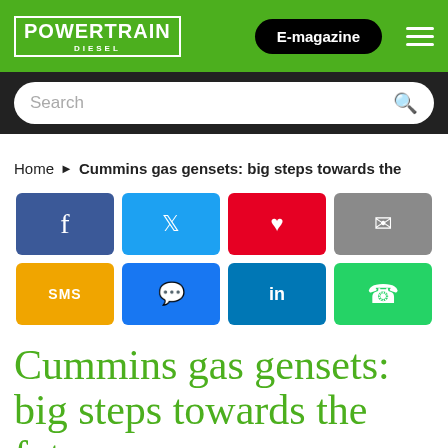POWERTRAIN DIESEL | E-magazine
Search
Home ▶ Cummins gas gensets: big steps towards the
[Figure (infographic): Social media share buttons: Facebook, Twitter, Pinterest, Email, SMS, Messenger, LinkedIn, WhatsApp]
Cummins gas gensets: big steps towards the future
Cummins has been continuing its